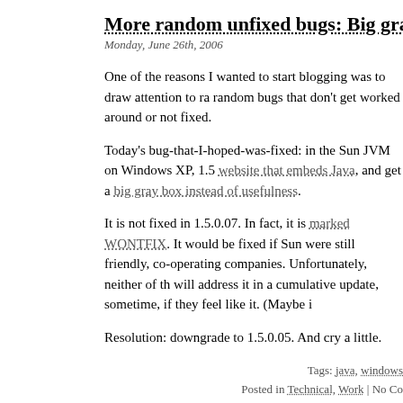More random unfixed bugs: Big gray box on Java web
Monday, June 26th, 2006
One of the reasons I wanted to start blogging was to draw attention to random bugs that don't get worked around or not fixed.
Today's bug-that-I-hoped-was-fixed: in the Sun JVM on Windows XP, 1.5.0.06, if you visit a website that embeds Java, and get a big gray box instead of usefulness.
It is not fixed in 1.5.0.07. In fact, it is marked WONTFIX. It would be fixed if Microsoft and Sun were still friendly, co-operating companies. Unfortunately, neither of them are. Microsoft will address it in a cumulative update, sometime, if they feel like it. (Maybe i
Resolution: downgrade to 1.5.0.05. And cry a little.
Tags: java, windows
Posted in Technical, Work | No Co
Plea to ICANN
Monday, June 26th, 2006
Something that the .NZ registry does, but I don't think that ICANN does, is put expired domains in a holding pool. That way, for a period after their expiry, they don't work, but the original owner can pay to get it back - everyone else has to wait. This is e